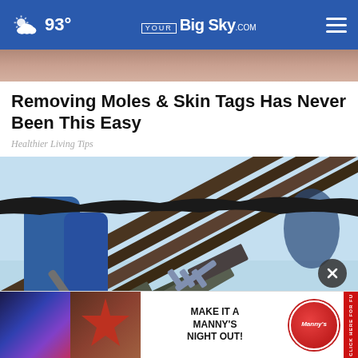93° YourBigSky.com
[Figure (photo): Partial view of skin/face image at top, cropped]
Removing Moles & Skin Tags Has Never Been This Easy
Healthier Living Tips
[Figure (photo): Person in jeans using a roofing tool (fork/crowbar) to remove old shingles from a roof, blue sky background]
[Figure (infographic): Advertisement banner: Make It A Manny's Night Out with Manny's logo badge and side click-here bar]